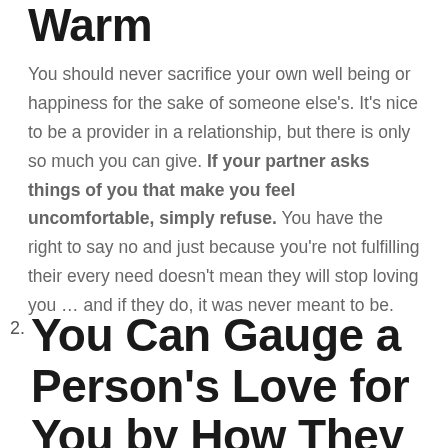Warm
You should never sacrifice your own well being or happiness for the sake of someone else's. It's nice to be a provider in a relationship, but there is only so much you can give. If your partner asks things of you that make you feel uncomfortable, simply refuse. You have the right to say no and just because you're not fulfilling their every need doesn't mean they will stop loving you … and if they do, it was never meant to be.
2. You Can Gauge a Person's Love for You by How They Treat You When They're Upset